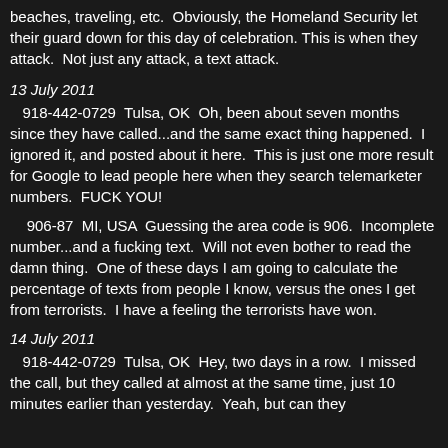beaches, traveling, etc.  Obviously, the Homeland Security let their guard down for this day of celebration. This is when they attack.  Not just any attack, a text attack.
13 July 2011
918-442-0729  Tulsa, OK  Oh, been about seven months since they have called...and the same exact thing happened.  I ignored it, and posted about it here.  This is just one more result for Google to lead people here when they search telemarketer numbers.  FUCK YOU!
906-87  MI, USA  Guessing the area code is 906.  Incomplete number...and a fucking text.  Will not even bother to read the damn thing.  One of these days I am going to calculate the percentage of texts from people I know, versus the ones I get from terrorists.  I have a feeling the terrorists have won.
14 July 2011
918-442-0729  Tulsa, OK  Hey, two days in a row.  I missed the call, but they called at almost at the same time, just 10 minutes earlier than yesterday.  Yeah, but can they